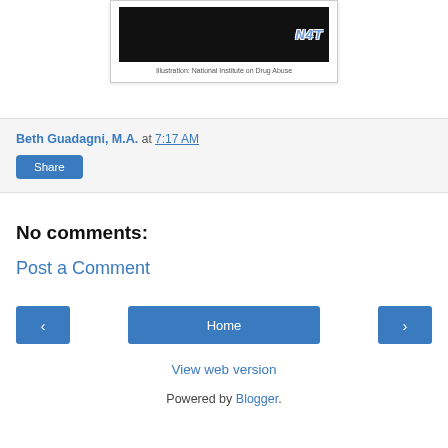[Figure (illustration): Partial illustration from National Institute on Drug Abuse with N4T branding visible]
Illustration: National Institute on Drug Abuse
Beth Guadagni, M.A. at 7:17 AM
Share
No comments:
Post a Comment
< Home >
View web version
Powered by Blogger.